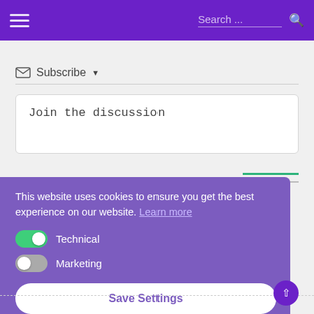Search ...
Subscribe ▼
Join the discussion
This website uses cookies to ensure you get the best experience on our website. Learn more
Technical
Marketing
Save Settings